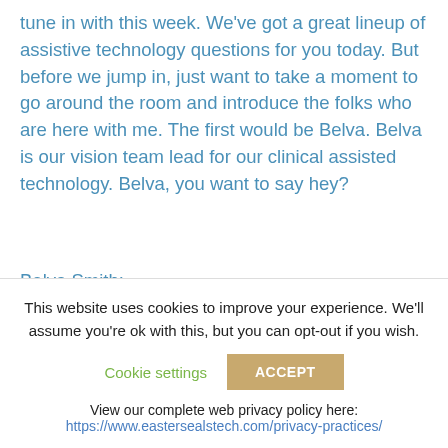tune in with this week. We've got a great lineup of assistive technology questions for you today. But before we jump in, just want to take a moment to go around the room and introduce the folks who are here with me. The first would be Belva. Belva is our vision team lead for our clinical assisted technology. Belva, you want to say hey?
Belva Smith:
Hello, everybody. I would say good morning, but
This website uses cookies to improve your experience. We'll assume you're ok with this, but you can opt-out if you wish.
Cookie settings
ACCEPT
View our complete web privacy policy here:
https://www.eastersealstech.com/privacy-practices/